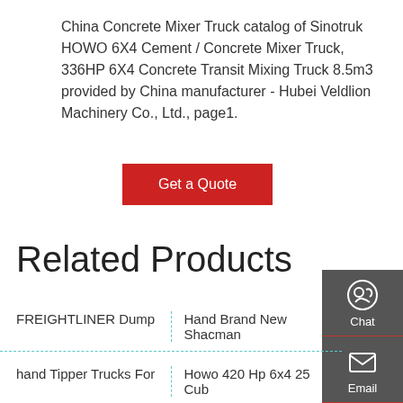China Concrete Mixer Truck catalog of Sinotruk HOWO 6X4 Cement / Concrete Mixer Truck, 336HP 6X4 Concrete Transit Mixing Truck 8.5m3 provided by China manufacturer - Hubei Veldlion Machinery Co., Ltd., page1.
Get a Quote
Related Products
FREIGHTLINER Dump | Hand Brand New Shacman
hand Tipper Trucks For | Howo 420 Hp 6x4 25 Cub
Front Dump Truck Sinotruk | hand Dongfeng 4 2 4T